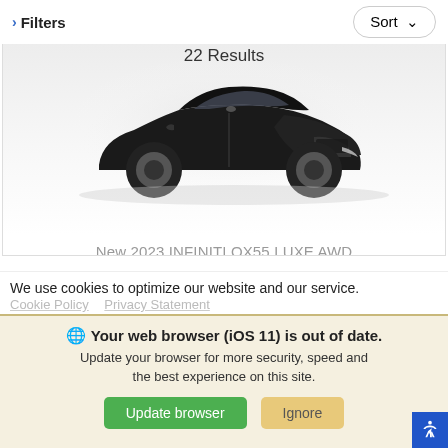> Filters
Sort ∨
22 Results
[Figure (photo): Black Infiniti QX55 SUV/crossover shown in a side-front angle on a white/light background]
New 2023 INFINITI QX55 LUXE AWD
LUXE AWD CROSSOVER Sport Utility Variable
STOCK#: PF101489
We use cookies to optimize our website and our service.
Cookie Policy   Privacy Statement
🌐 Your web browser (iOS 11) is out of date. Update your browser for more security, speed and the best experience on this site.
Update browser
Ignore